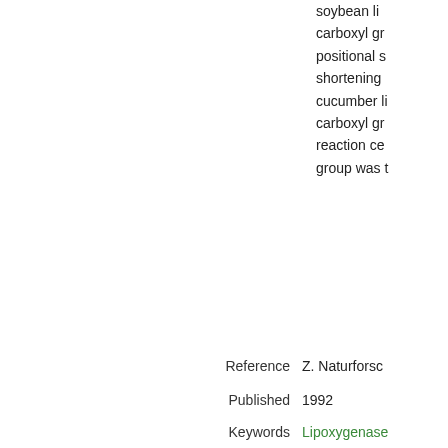soybean li... carboxyl gr... positional s... shortening... cucumber li... carboxyl gro... reaction ce... group was t...
Reference   Z. Naturforsc...
Published   1992
Keywords   Lipoxygenase   Specificity
Similar Items   Find
3
Author   AkikazuH. A...
Title   Substra...
Abstract   Substrate s... systematica... C24 dienoic... hydroperox... the highest...